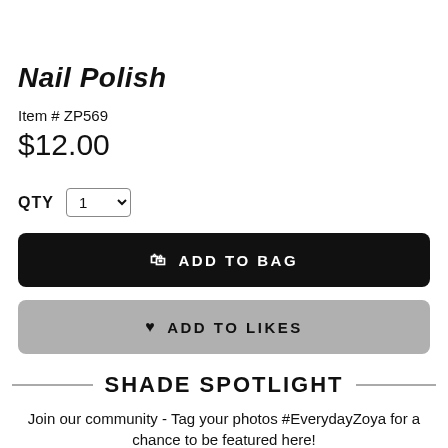Nail Polish
Item # ZP569
$12.00
QTY  1
ADD TO BAG
ADD TO LIKES
SHADE SPOTLIGHT
Join our community - Tag your photos #EverydayZoya for a chance to be featured here!